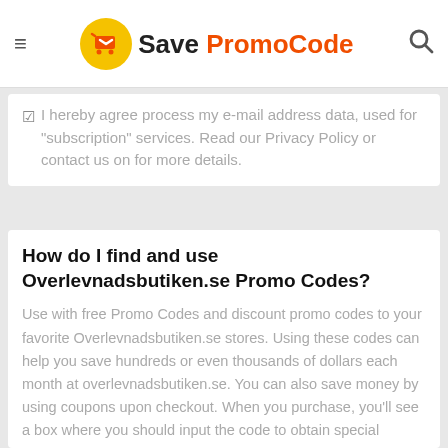Save PromoCode
I hereby agree process my e-mail address data, used for "subscription" services. Read our Privacy Policy or contact us on for more details.
How do I find and use Overlevnadsbutiken.se Promo Codes?
Use with free Promo Codes and discount promo codes to your favorite Overlevnadsbutiken.se stores. Using these codes can help you save hundreds or even thousands of dollars each month at overlevnadsbutiken.se. You can also save money by using coupons upon checkout. When you purchase, you'll see a box where you should input the code to obtain special discounts. You could get a particular amount of deal or discount on every Promo Code you have. It may be free shipping, 10% percent off or even